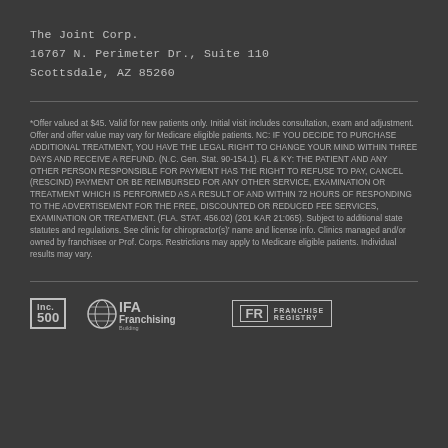The Joint Corp.
16767 N. Perimeter Dr., Suite 110
Scottsdale, AZ 85260
*Offer valued at $45. Valid for new patients only. Initial visit includes consultation, exam and adjustment. Offer and offer value may vary for Medicare eligible patients. NC: IF YOU DECIDE TO PURCHASE ADDITIONAL TREATMENT, YOU HAVE THE LEGAL RIGHT TO CHANGE YOUR MIND WITHIN THREE DAYS AND RECEIVE A REFUND. (N.C. Gen. Stat. 90-154.1). FL & KY: THE PATIENT AND ANY OTHER PERSON RESPONSIBLE FOR PAYMENT HAS THE RIGHT TO REFUSE TO PAY, CANCEL (RESCIND) PAYMENT OR BE REIMBURSED FOR ANY OTHER SERVICE, EXAMINATION OR TREATMENT WHICH IS PERFORMED AS A RESULT OF AND WITHIN 72 HOURS OF RESPONDING TO THE ADVERTISEMENT FOR THE FREE, DISCOUNTED OR REDUCED FEE SERVICES, EXAMINATION OR TREATMENT. (FLA. STAT. 456.02) (201 KAR 21:065). Subject to additional state statutes and regulations. See clinic for chiropractor(s)' name and license info. Clinics managed and/or owned by franchisee or Prof. Corps. Restrictions may apply to Medicare eligible patients. Individual results may vary.
[Figure (logo): Inc. 500, IFA Franchising, and Franchise Registry logos]